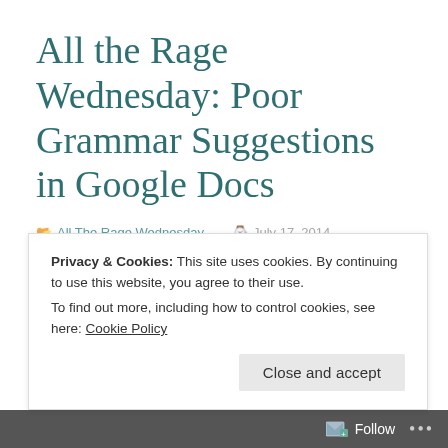All the Rage Wednesday: Poor Grammar Suggestions in Google Docs
All The Rage Wednesday  July 17, 2014  2 Minutes
When Jayne and I were writing our novel, I discovered
Privacy & Cookies: This site uses cookies. By continuing to use this website, you agree to their use.
To find out more, including how to control cookies, see here: Cookie Policy
Close and accept
Follow ...